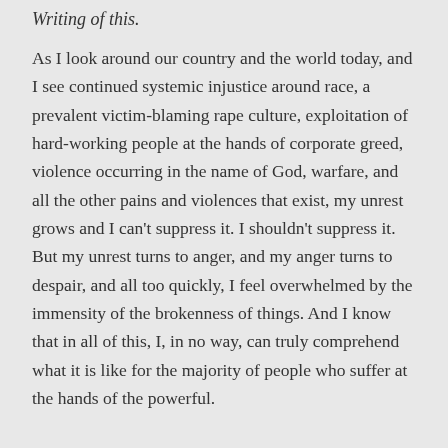Writing of this.
As I look around our country and the world today, and I see continued systemic injustice around race, a prevalent victim-blaming rape culture, exploitation of hard-working people at the hands of corporate greed, violence occurring in the name of God, warfare, and all the other pains and violences that exist, my unrest grows and I can’t suppress it. I shouldn’t suppress it. But my unrest turns to anger, and my anger turns to despair, and all too quickly, I feel overwhelmed by the immensity of the brokenness of things. And I know that in all of this, I, in no way, can truly comprehend what it is like for the majority of people who suffer at the hands of the powerful.